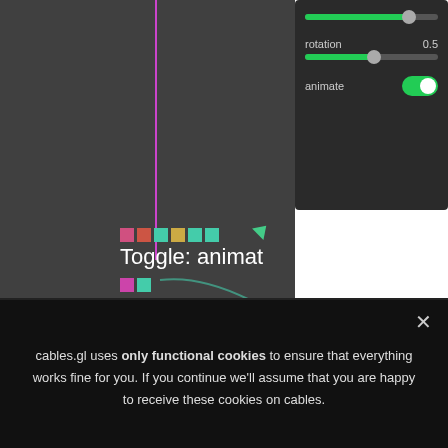[Figure (screenshot): Screenshot of cables.gl node editor showing a canvas with magenta vertical line connecting to a node labeled 'Toggle: animat' with colored blocks (pink, red, teal, yellow) and a teal arrow cursor. Right panel shows sliders for an unnamed parameter and 'rotation' (value 0.5) and an 'animate' toggle switch turned on (green).]
rotation    0.5
animate
Toggle: animat
cables.gl uses only functional cookies to ensure that everything works fine for you. If you continue we'll assume that you are happy to receive these cookies on cables.